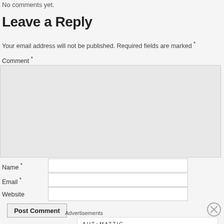No comments yet.
Leave a Reply
Your email address will not be published. Required fields are marked *
Comment *
Name *
Email *
Website
Post Comment
Advertisements
[Figure (other): Automattic advertisement: 'Build a better web and a better world.']